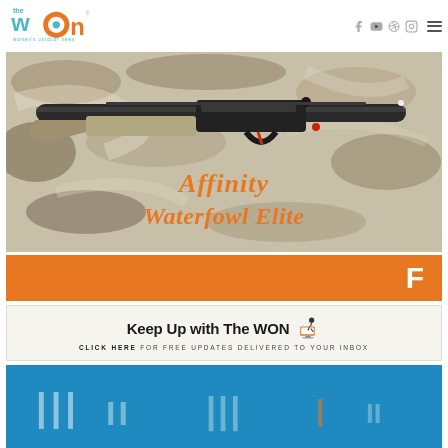The WON - Women's Outdoor News
[Figure (photo): Advertisement showing a shotgun (Affinity Waterfowl Elite) in camouflage finish with orange text overlay reading Affinity Waterfowl Elite]
[Figure (other): Orange banner with white letter F]
[Figure (other): Keep Up with The WON - Click Here for free updates delivered to your inbox newsletter signup banner]
[Figure (other): Partial blue advertisement banner at the bottom of the page]